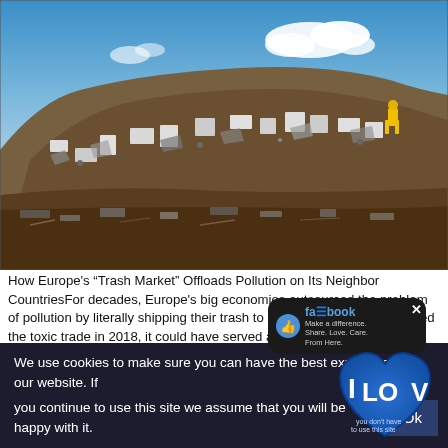[Figure (photo): A large landfill/scrap yard under a blue sky with clouds, massive pile of garbage and debris including appliances and electronic waste, a figure in yellow visible on the right side of the pile.]
How Europe's “Trash Market” Offloads Pollution on Its Neighbors CountriesFor decades, Europe's big economies outsourced the problem of pollution by literally shipping their trash to China. When Beijing banned the toxic trade in 2018, it could have served as a wake-up call — but instead, the big polluters rerouted their garbage to low-wage, low-regulation countries inside the European UnioLate January saw anger boiling onto the streets of Pernik, Bulgaria, as residents decried the toxic air and the depletion of the local dam. In t
[Figure (screenshot): Facebook popup overlay with dark speech bubble showing Facebook logo and text 'Make a difference. Share. Love. Care. From Here.' with a thumbs up icon and a large blue 'I LOVE' badge with Facebook heart logo below it. An X close button in the top right corner.]
We use cookies to make sure you can have the best experience on our website. If you continue to use this site we assume that you will be happy with it.   Ok